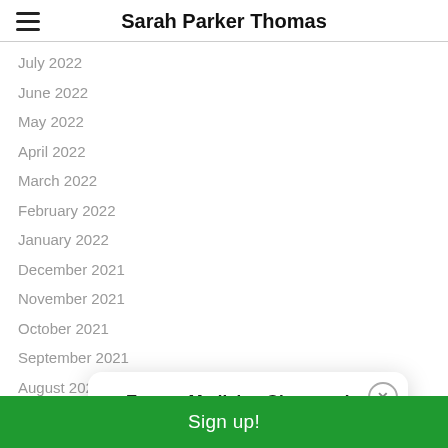Sarah Parker Thomas
July 2022
June 2022
May 2022
April 2022
March 2022
February 2022
January 2022
December 2021
November 2021
October 2021
September 2021
August 2021
July 2021
June 2021
May 2021
April 2021
[Figure (screenshot): Popup modal with title 'Energy Medicine Giveaway!' and a green 'Enter Giveaway >' link below, with an X close button.]
Sign up!